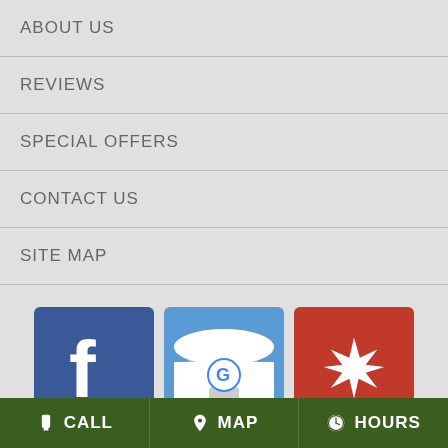ABOUT US
REVIEWS
SPECIAL OFFERS
CONTACT US
SITE MAP
[Figure (logo): Facebook logo icon (blue square with white f), Google My Business icon (blue store with G), Yelp logo icon (red square with white burst star)]
BELDING DAISY FLORAL
9417 ELLIS RD
CALL   MAP   HOURS